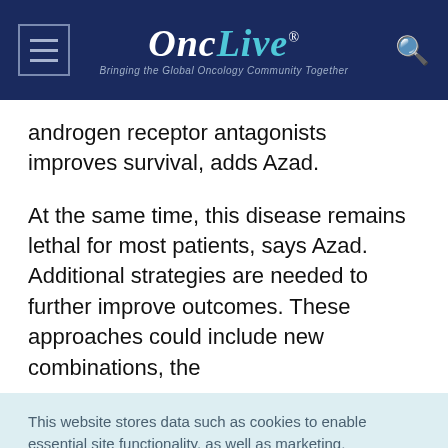OncLive® — Bringing the Global Oncology Community Together
androgen receptor antagonists improves survival, adds Azad.
At the same time, this disease remains lethal for most patients, says Azad. Additional strategies are needed to further improve outcomes. These approaches could include new combinations, the
This website stores data such as cookies to enable essential site functionality, as well as marketing, personalization, and analytics. Cookie Policy
Accept
Deny